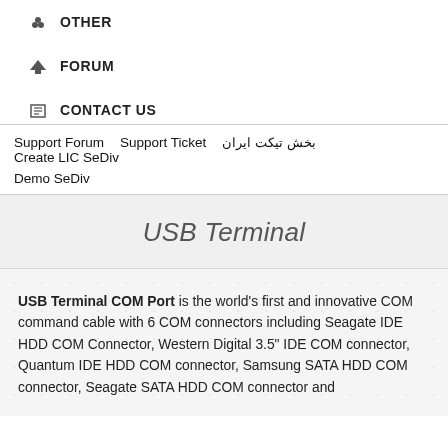OTHER
FORUM
CONTACT US
Support Forum   Support Ticket   بخش تیکت ایران   Create LIC SeDiv   Demo SeDiv
USB Terminal
USB Terminal COM Port is the world's first and innovative COM command cable with 6 COM connectors including Seagate IDE HDD COM Connector, Western Digital 3.5" IDE COM connector, Quantum IDE HDD COM connector, Samsung SATA HDD COM connector, Seagate SATA HDD COM connector and